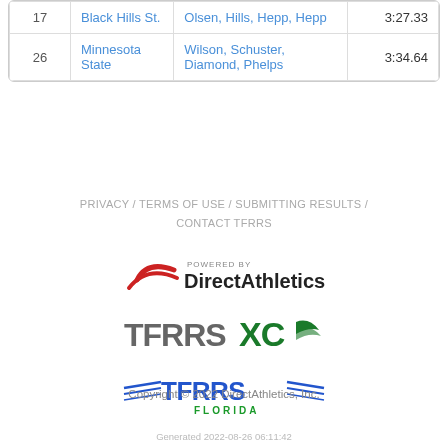| # | Team | Athletes | Time |
| --- | --- | --- | --- |
| 17 | Black Hills St. | Olsen, Hills, Hepp, Hepp | 3:27.33 |
| 26 | Minnesota State | Wilson, Schuster, Diamond, Phelps | 3:34.64 |
PRIVACY / TERMS OF USE / SUBMITTING RESULTS / CONTACT TFRRS
[Figure (logo): Powered by DirectAthletics logo with red swoosh marks and bold text]
[Figure (logo): TFRRSXC logo with bold dark gray TFRRS text and green XC with wing icon]
[Figure (logo): TFRRS Florida logo with blue TFRRS text, wing decorations, and green FLORIDA text]
Copyright © 2022 DirectAthletics, Inc.
Generated 2022-08-26 06:11:42